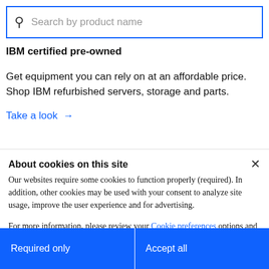[Figure (screenshot): Search bar with magnifying glass icon and placeholder text 'Search by product name', outlined with blue border]
IBM certified pre-owned
Get equipment you can rely on at an affordable price. Shop IBM refurbished servers, storage and parts.
Take a look →
About cookies on this site
Our websites require some cookies to function properly (required). In addition, other cookies may be used with your consent to analyze site usage, improve the user experience and for advertising.
For more information, please review your Cookie preferences options and IBM's privacy statement.
Required only
Accept all